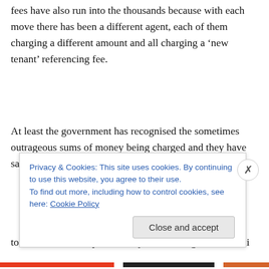fees have also run into the thousands because with each move there has been a different agent, each of them charging a different amount and all charging a 'new tenant' referencing fee.
At least the government has recognised the sometimes outrageous sums of money being charged and they have said letting fees will be banned in the autumn statement; too late for us and quite frankly it is nothing more than li...
[Figure (screenshot): Cookie consent banner with blue text reading 'Privacy & Cookies: This site uses cookies. By continuing to use this website, you agree to their use. To find out more, including how to control cookies, see here: Cookie Policy' with a 'Close and accept' button and an X close button.]